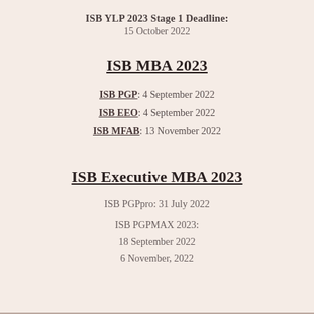ISB YLP 2023 Stage 1 Deadline:
15 October 2022
ISB MBA 2023
ISB PGP: 4 September 2022
ISB EEO: 4 September 2022
ISB MFAB: 13 November 2022
ISB Executive MBA 2023
ISB PGPpro: 31 July 2022
ISB PGPMAX 2023:
18 September 2022
6 November, 2022